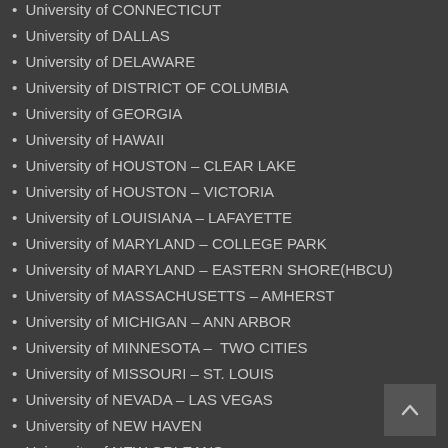University of CONNECTICUT
University of DALLAS
University of DELAWARE
University of DISTRICT OF COLUMBIA
University of GEORGIA
University of HAWAII
University of HOUSTON – CLEAR LAKE
University of HOUSTON – VICTORIA
University of LOUISIANA – LAFAYETTE
University of MARYLAND – COLLEGE PARK
University of MARYLAND – EASTERN SHORE(HBCU)
University of MASSACHUSETTS – AMHERST
University of MICHIGAN – ANN ARBOR
University of MINNESOTA –  TWO CITIES
University of MISSOURI – ST. LOUIS
University of NEVADA – LAS VEGAS
University of NEW HAVEN
University of NEW ORLEANS
University of NORTH CAROLINA – Chapel Hill